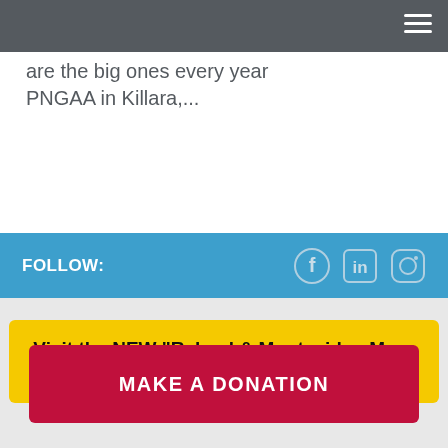consequence we lapuns in Australia hold reunions. There are the big ones every year PNGAA in Killara,...
FOLLOW:
[Figure (illustration): Social media icons: Facebook, LinkedIn, Instagram in light gray/white on blue bar]
Visit the NEW "Rabaul & Montevideo Maru Memorial" site (Click here)
MAKE A DONATION